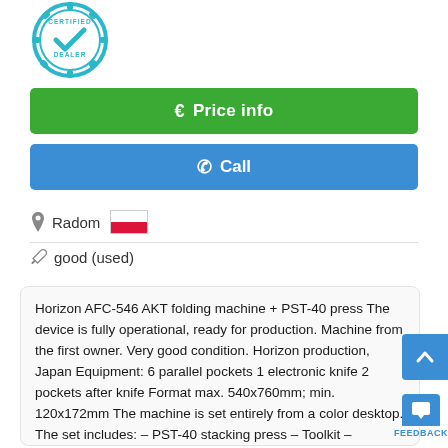[Figure (logo): Certified Dealer badge - circular teal gear badge with checkmark]
€ Price info
✆ Call
Radom [Polish flag]
good (used)
Horizon AFC-546 AKT folding machine + PST-40 press The device is fully operational, ready for production. Machine from the first owner. Very good condition. Horizon production, Japan Equipment: 6 parallel pockets 1 electronic knife 2 pockets after knife Format max. 540x760mm; min. 120x172mm The machine is set entirely from a color desktop. The set includes: – PST-40 stacking press – Toolkit – additional elements – user manual Grwz229 –